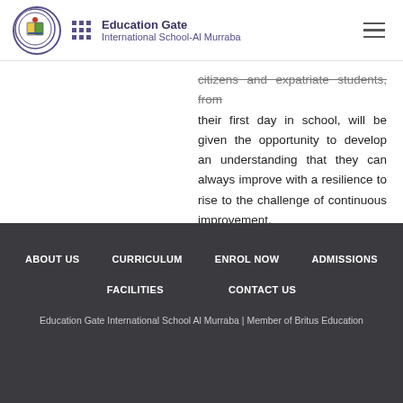Education Gate International School-Al Murraba
citizens and expatriate students, from their first day in school, will be given the opportunity to develop an understanding that they can always improve with a resilience to rise to the challenge of continuous improvement.
ABOUT US  CURRICULUM  ENROL NOW  ADMISSIONS  FACILITIES  CONTACT US  Education Gate International School Al Murraba | Member of Britus Education